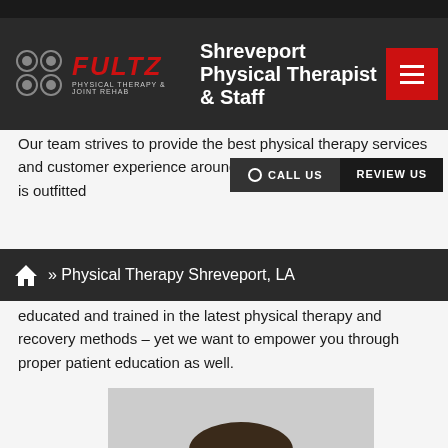Shreveport Physical Therapist & Staff
Our team strives to provide the best physical therapy services and customer experience around. The South Shreveport clinic is outfitted educated and trained in the latest physical therapy and recovery methods – yet we want to empower you through proper patient education as well.
» Physical Therapy Shreveport, LA
[Figure (photo): Professional headshot of a young male physical therapist with beard, wearing a black Fultz Physical Therapy polo shirt, smiling at camera against a light background.]